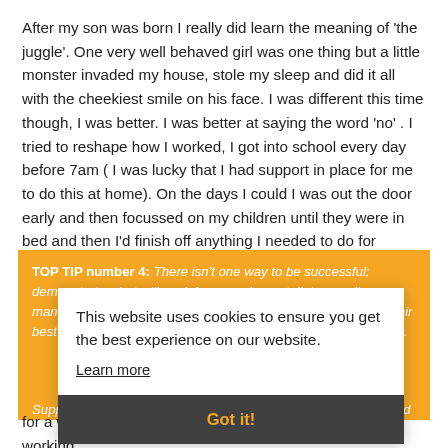After my son was born I really did learn the meaning of 'the juggle'. One very well behaved girl was one thing but a little monster invaded my house, stole my sleep and did it all with the cheekiest smile on his face. I was different this time though, I was better. I was better at saying the word 'no' . I tried to reshape how I worked, I got into school every day before 7am ( I was lucky that I had support in place for me to do this at home). On the days I could I was out the door early and then focussed on my children until they were in bed and then I'd finish off anything I needed to do for several hours, emails, marking etc.
TOP TIP number 4: There isn't one way to be successful; demonstrate what will work for you, always talk to your line manager and be solution focused, that schools want to keep their best staff and a bit of flexibility to help find a way through issues.
This website uses cookies to ensure you get the best experience on our website.
Learn more
Got it!
Support networks are important. I'm really lucky that my husband can do the drop off most mornings and that I have supportive grandparents nearby. However, I was a single mum for a while and I have absolute respect for any single working